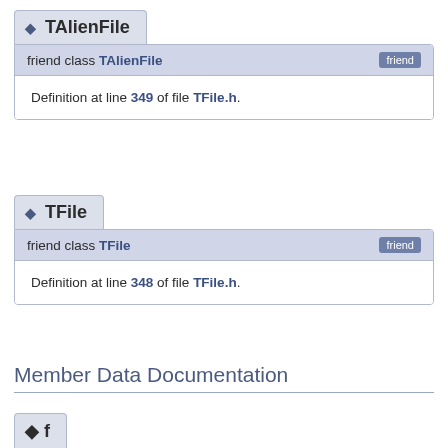◆ TAlienFile
friend class TAlienFile [friend]
Definition at line 349 of file TFile.h.
◆ TFile
friend class TFile [friend]
Definition at line 348 of file TFile.h.
Member Data Documentation
[Figure (other): Partial view of another entry block at the bottom of the page]